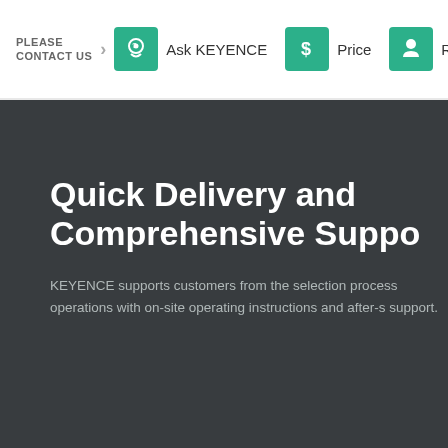PLEASE CONTACT US
Ask KEYENCE
Price
Requ
Quick Delivery and Comprehensive Suppo
KEYENCE supports customers from the selection process operations with on-site operating instructions and after-s support.